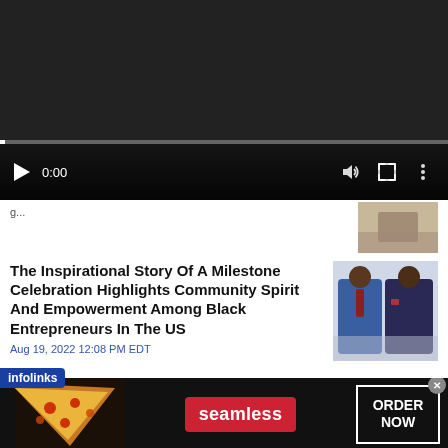[Figure (screenshot): Video player with dark background, progress bar, play button, time display 0:00, volume, fullscreen, and more icons]
The Inspirational Story Of A Milestone Celebration Highlights Community Spirit And Empowerment Among Black Entrepreneurs In The US
Aug 19, 2022 12:08 PM EDT
[Figure (photo): Two Black men in suits standing together]
[Figure (infographic): Seamless food delivery advertisement banner with pizza image, Seamless logo in red, and ORDER NOW button]